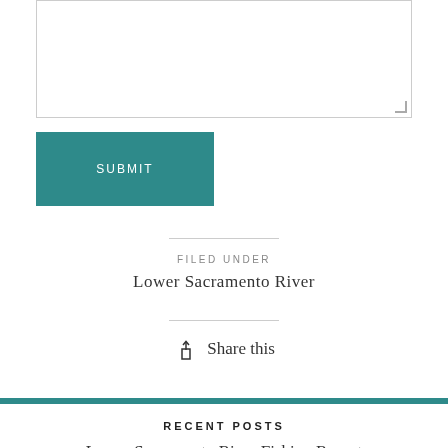[textarea input field]
SUBMIT
FILED UNDER
Lower Sacramento River
Share this
RECENT POSTS
Lower Sacramento River Fishing Report